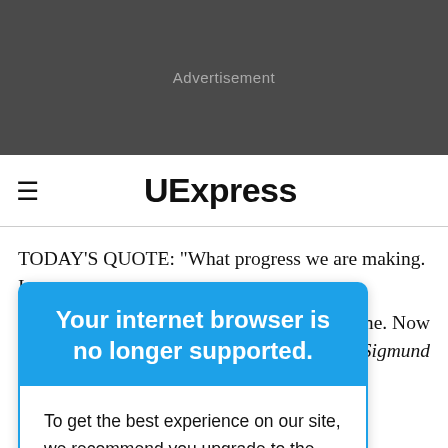[Figure (other): Dark grey advertisement banner placeholder with text 'Advertisement' in light grey]
UExpress
TODAY'S QUOTE: "What progress we are making. In
Your internet browser is no longer supported.
To get the best experience on our site, we recommend you upgrade to the latest version.
ed me. Now
s." -- Sigmund
orld record
set by